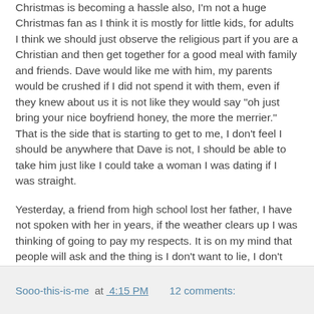Christmas is becoming a hassle also, I'm not a huge Christmas fan as I think it is mostly for little kids, for adults I think we should just observe the religious part if you are a Christian and then get together for a good meal with family and friends. Dave would like me with him, my parents would be crushed if I did not spend it with them, even if they knew about us it is not like they would say "oh just bring your nice boyfriend honey, the more the merrier." That is the side that is starting to get to me, I don't feel I should be anywhere that Dave is not, I should be able to take him just like I could take a woman I was dating if I was straight.
Yesterday, a friend from high school lost her father, I have not spoken with her in years, if the weather clears up I was thinking of going to pay my respects. It is on my mind that people will ask and the thing is I don't want to lie, I don't want to cause a stir or do it to shock people but I want to be able to tell the truth when they ask "You still single" I want to be able to say "no I've met a really great guy".
Sooo-this-is-me at 4:15 PM   12 comments: